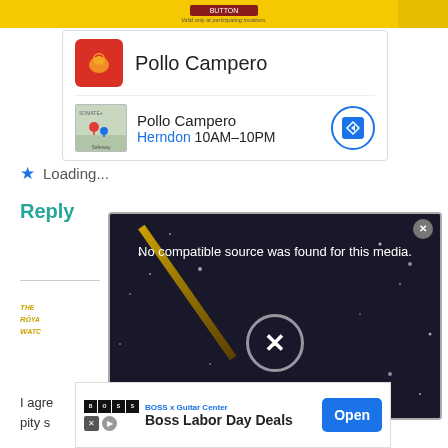[Figure (screenshot): Yellow ad banner at top with dark red button and small italic text 'Valid only at participating locations']
[Figure (screenshot): Pollo Campero restaurant card with logo, name, map thumbnail, Herndon location, hours 10AM-10PM and navigation button]
Loading...
Reply
[Figure (screenshot): Video player overlay with dark/sparkle background, diagonal golden bar, message 'No compatible source was found for this media.' and X button, close button top right]
I agre
pity s
[Figure (screenshot): Bottom advertisement for BOSS x Guitar Center - Boss Labor Day Deals with Open button]
The
Röya
Watc